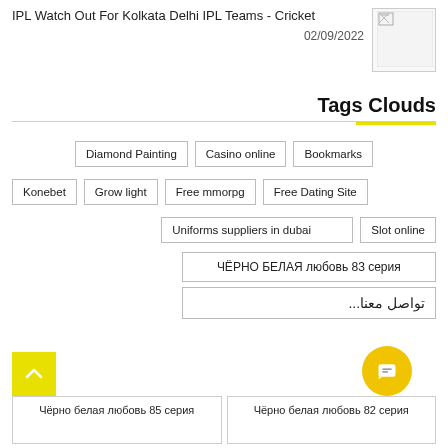IPL Watch Out For Kolkata Delhi IPL Teams - Cricket
02/09/2022
[Figure (photo): Thumbnail image placeholder]
Tags Clouds
Diamond Painting
Casino online
Bookmarks
Konebet
Grow light
Free mmorpg
Free Dating Site
Uniforms suppliers in dubai
Slot online
ЧЁРНО БЕЛАЯ любовь 83 серия
تواصل معنا...
Чёрно белая любовь 85 серия
Чёрно белая любовь 82 серия